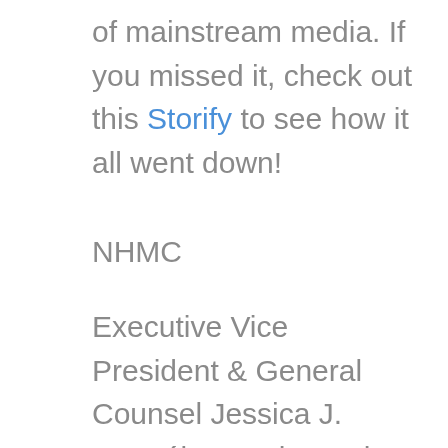of mainstream media. If you missed it, check out this Storify to see how it all went down!
NHMC
Executive Vice President & General Counsel Jessica J. González moderated the webinar. Speakers included NHMC Policy Director, Michael Scurato; founder and creator of technology lifestyle